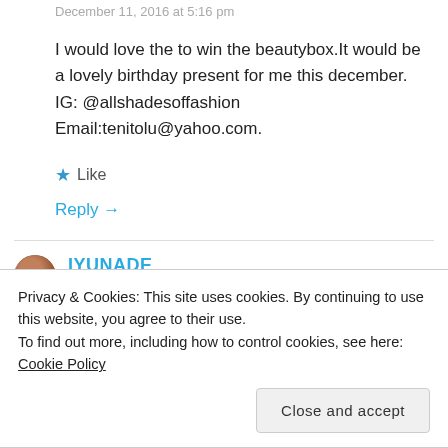December 11, 2016 at 5:16 pm
I would love the to win the beautybox.It would be a lovely birthday present for me this december. IG: @allshadesoffashion Email:tenitolu@yahoo.com.
★ Like
Reply →
IYUNADE
Privacy & Cookies: This site uses cookies. By continuing to use this website, you agree to their use.
To find out more, including how to control cookies, see here: Cookie Policy